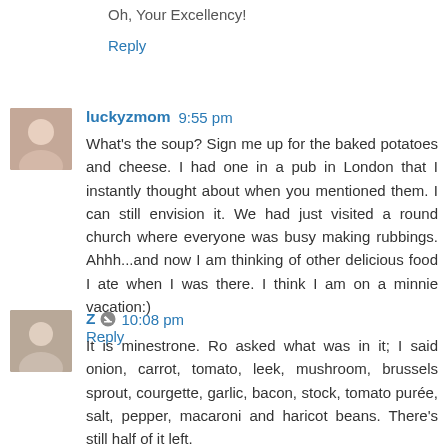Oh, Your Excellency!
Reply
luckyzmom 9:55 pm
What's the soup? Sign me up for the baked potatoes and cheese. I had one in a pub in London that I instantly thought about when you mentioned them. I can still envision it. We had just visited a round church where everyone was busy making rubbings. Ahhh...and now I am thinking of other delicious food I ate when I was there. I think I am on a minnie vacation:)
Reply
Z 10:08 pm
It is minestrone. Ro asked what was in it; I said onion, carrot, tomato, leek, mushroom, brussels sprout, courgette, garlic, bacon, stock, tomato purée, salt, pepper, macaroni and haricot beans. There's still half of it left.
Reply